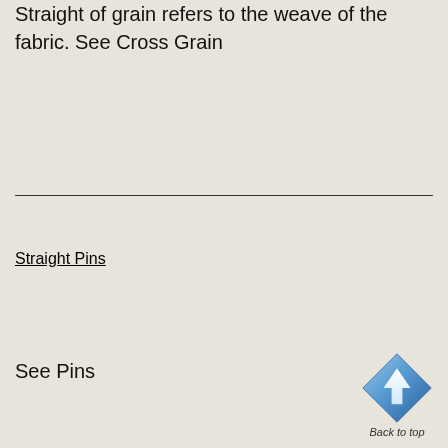Straight of grain refers to the weave of the fabric. See Cross Grain
Straight Pins
See Pins
[Figure (illustration): Blue diamond-shaped 'Back to top' button with upward arrow icon and label 'Back to top']